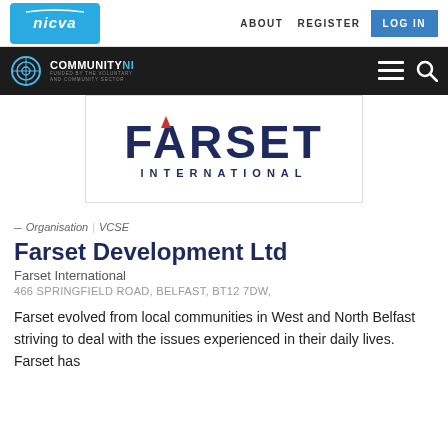[Figure (logo): NICVA logo with navigation bar showing ABOUT, REGISTER, LOG IN links]
[Figure (logo): Community NI logo on dark background with hamburger menu and search icon]
[Figure (logo): Farset International logo - large dark navy text with red arrow accent on the A]
– Organisation | VCSE
Farset Development Ltd
Farset International
466 SPRINGFIELD ROAD, BELFAST, BT12 7DW,
Farset evolved from local communities in West and North Belfast striving to deal with the issues experienced in their daily lives. Farset has